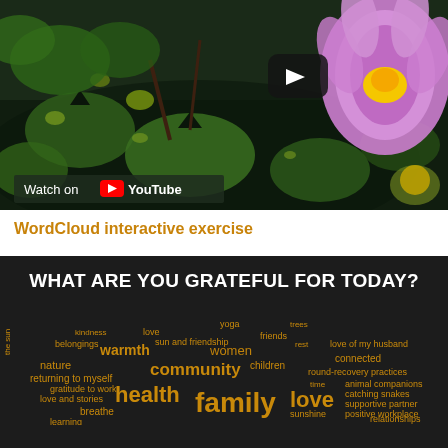[Figure (screenshot): YouTube video thumbnail showing water lily/lotus flowers on dark water with a play button overlay and 'Watch on YouTube' badge at the bottom left]
WordCloud interactive exercise
[Figure (screenshot): Interactive word cloud on dark background with heading 'WHAT ARE YOU GRATEFUL FOR TODAY?' and words including yoga, love, warmth, women, health, family, community, nature, breathe, children, connected, relationships, and many others in gold/yellow and white text]